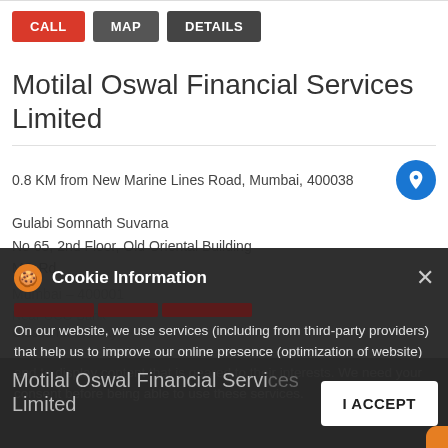[Figure (screenshot): Three navigation buttons: CALL (red), MAP (dark grey), DETAILS (dark grey)]
Motilal Oswal Financial Services Limited
0.8 KM from New Marine Lines Road, Mumbai, 400038
Gulabi Somnath Suvarna
No 65, 2nd Floor, Old Oriental Building
MG Rd
Mumbai – 400001
Closed for the day
Cookie Information
On our website, we use services (including from third-party providers) that help us to improve our online presence (optimization of website) and to display content that is geared to their interests. We need your consent before being able to use these services.
I ACCEPT
Motilal Oswal Financial Services Limited